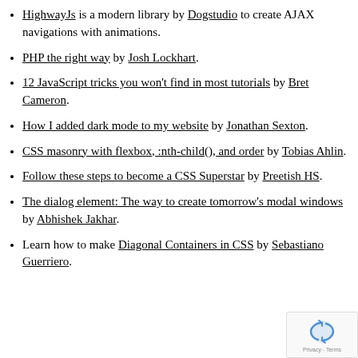HighwayJs is a modern library by Dogstudio to create AJAX navigations with animations.
PHP the right way by Josh Lockhart.
12 JavaScript tricks you won't find in most tutorials by Bret Cameron.
How I added dark mode to my website by Jonathan Sexton.
CSS masonry with flexbox, :nth-child(), and order by Tobias Ahlin.
Follow these steps to become a CSS Superstar by Preetish HS.
The dialog element: The way to create tomorrow's modal windows by Abhishek Jakhar.
Learn how to make Diagonal Containers in CSS by Sebastiano Guerriero.